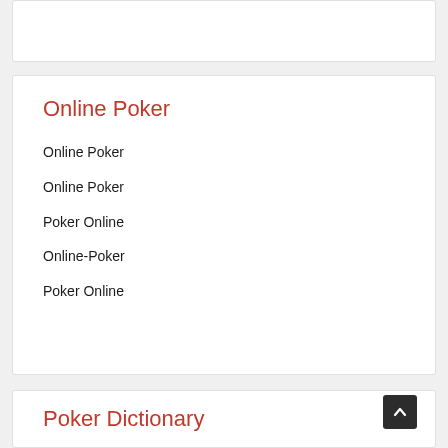Online Poker
Online Poker
Online Poker
Poker Online
Online-Poker
Poker Online
Poker Dictionary
6-Handed